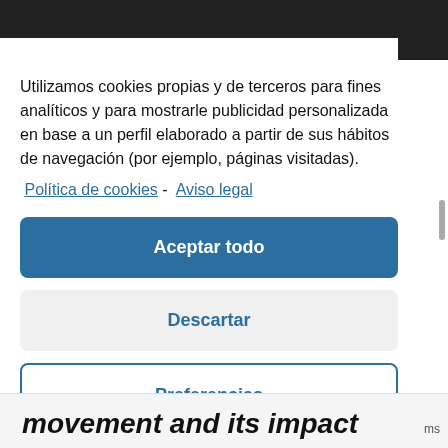Utilizamos cookies propias y de terceros para fines analíticos y para mostrarle publicidad personalizada en base a un perfil elaborado a partir de sus hábitos de navegación (por ejemplo, páginas visitadas).
Política de cookies -  Aviso legal
Aceptar todo
Descartar
Preferencias
movement and its impact